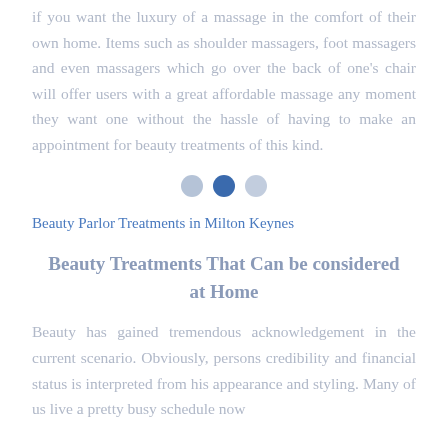if you want the luxury of a massage in the comfort of their own home. Items such as shoulder massagers, foot massagers and even massagers which go over the back of one's chair will offer users with a great affordable massage any moment they want one without the hassle of having to make an appointment for beauty treatments of this kind.
[Figure (other): Three horizontal dots navigation indicator: light blue dot, dark blue dot (active), light blue dot]
Beauty Parlor Treatments in Milton Keynes
Beauty Treatments That Can be considered at Home
Beauty has gained tremendous acknowledgement in the current scenario. Obviously, persons credibility and financial status is interpreted from his appearance and styling. Many of us live a pretty busy schedule now